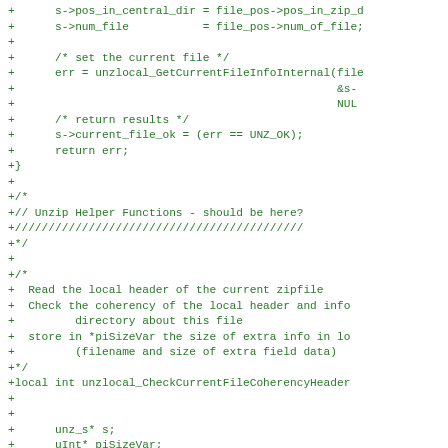+      s->pos_in_central_dir = file_pos->pos_in_zip_d
+      s->num_file          = file_pos->num_of_file;
+
+      /* set the current file */
+      err = unzlocal_GetCurrentFileInfoInternal(file
+                                                &s-
+                                                NUL
+      /* return results */
+      s->current_file_ok = (err == UNZ_OK);
+      return err;
+}
+
+/*
+// Unzip Helper Functions - should be here?
+///////////////////////////////////////////
+*/
+
+/*
+  Read the local header of the current zipfile
+  Check the coherency of the local header and info
+         directory about this file
+  store in *piSizeVar the size of extra info in lo
+         (filename and size of extra field data)
+*/
+local int unzlocal_CheckCurrentFileCoherencyHeader
+
+
+      unz_s* s;
+      uInt* piSizeVar;
+      uLong *poffset_local_extrafield;